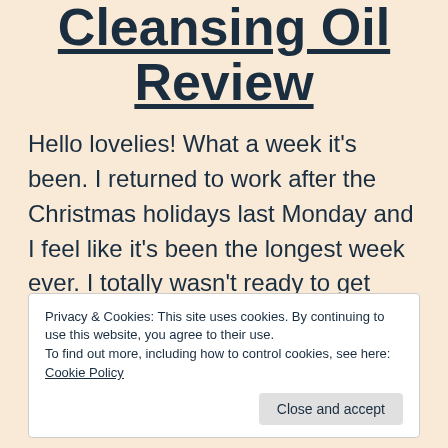Cleansing Oil Review
Hello lovelies! What a week it's been. I returned to work after the Christmas holidays last Monday and I feel like it's been the longest week ever. I totally wasn't ready to get back to reality, even though I actually
Privacy & Cookies: This site uses cookies. By continuing to use this website, you agree to their use.
To find out more, including how to control cookies, see here: Cookie Policy

Close and accept